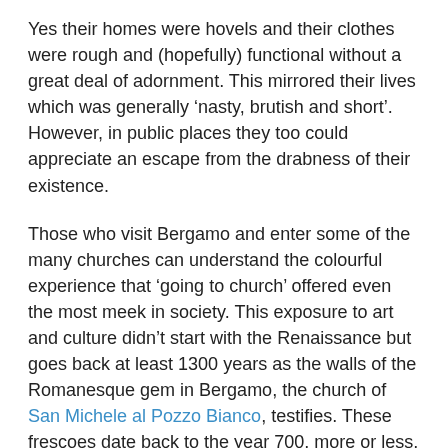Yes their homes were hovels and their clothes were rough and (hopefully) functional without a great deal of adornment. This mirrored their lives which was generally ‘nasty, brutish and short’. However, in public places they too could appreciate an escape from the drabness of their existence.
Those who visit Bergamo and enter some of the many churches can understand the colourful experience that ‘going to church’ offered even the most meek in society. This exposure to art and culture didn’t start with the Renaissance but goes back at least 1300 years as the walls of the Romanesque gem in Bergamo, the church of San Michele al Pozzo Bianco, testifies. These frescoes date back to the year 700, more or less, and were being updated for the next 700.
But how many of those who make the effort to down the hill from the funicular station look up to the left of the entrance to make out the faded frescoes on the outside of the building. The entrance has undergone many changes and it’s certain that some of the frescoes have been lost forever. The ones that still exist are gradually fading and becoming very indistinct but they do provide